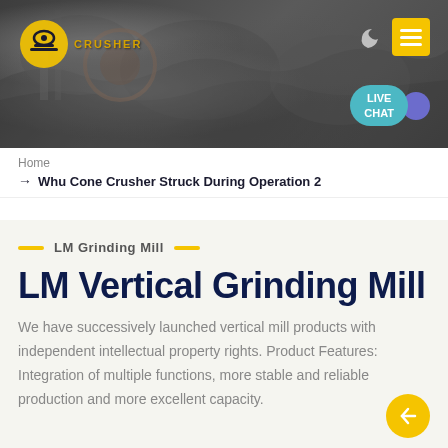[Figure (photo): Website header banner showing industrial mining/crushing equipment machinery against rocky background, with company logo (orange wheel/crusher icon) top left, moon and hamburger menu icons top right, and teal LIVE CHAT bubble bottom right]
Home
→ Whu Cone Crusher Struck During Operation 2
LM Grinding Mill
LM Vertical Grinding Mill
We have successively launched vertical mill products with independent intellectual property rights. Product Features: Integration of multiple functions, more stable and reliable production and more excellent capacity.